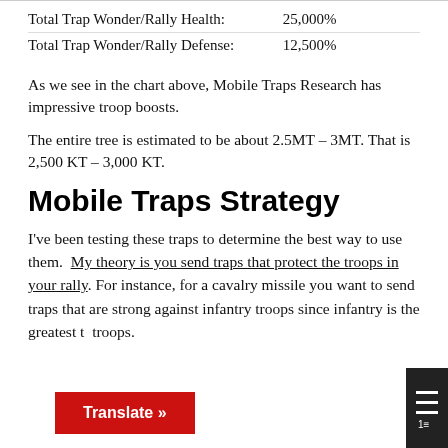|  |  |
| --- | --- |
| Total Trap Wonder/Rally Health: | 25,000% |
| Total Trap Wonder/Rally Defense: | 12,500% |
As we see in the chart above, Mobile Traps Research has impressive troop boosts.
The entire tree is estimated to be about 2.5MT – 3MT. That is 2,500 KT – 3,000 KT.
Mobile Traps Strategy
I've been testing these traps to determine the best way to use them. My theory is you send traps that protect the troops in your rally. For instance, for a cavalry missile you want to send traps that are strong against infantry troops since infantry is the greatest threat to cavalry troops.